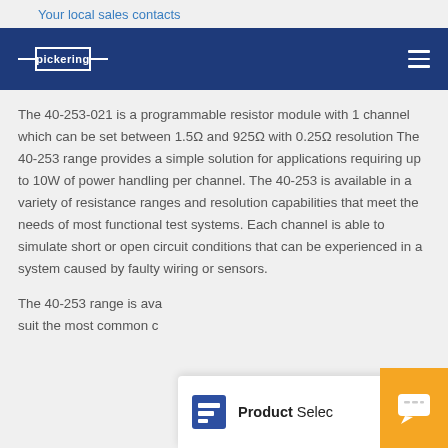Your local sales contacts
[Figure (logo): Pickering logo on dark navy navigation bar]
The 40-253-021 is a programmable resistor module with 1 channel which can be set between 1.5Ω and 925Ω with 0.25Ω resolution The 40-253 range provides a simple solution for applications requiring up to 10W of power handling per channel. The 40-253 is available in a variety of resistance ranges and resolution capabilities that meet the needs of most functional test systems. Each channel is able to simulate short or open circuit conditions that can be experienced in a system caused by faulty wiring or sensors.
The 40-253 range is ava... suit the most common c...
[Figure (screenshot): Product Selector popup overlay with SPS Commerce-style logo icon and orange chat button]